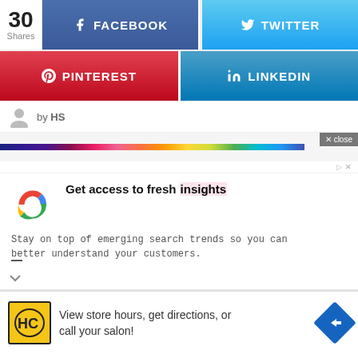[Figure (screenshot): Social share bar with 30 shares count, Facebook button, Twitter button, Pinterest button, LinkedIn button]
by HS
[Figure (screenshot): Google ad: Get access to fresh insights. Stay on top of emerging search trends so you can better understand your customers.]
[Figure (screenshot): HC salon ad: View store hours, get directions, or call your salon!]